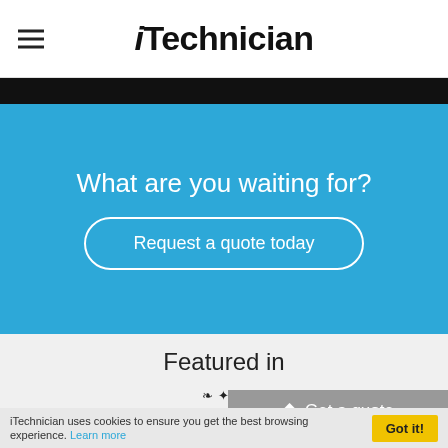iTechnician
What are you waiting for?
Request a quote today
Featured in
[Figure (logo): THE SUNDAY TIMES newspaper logo with ornate crest]
Get a quote
iTechnician uses cookies to ensure you get the best browsing experience. Learn more Got it!